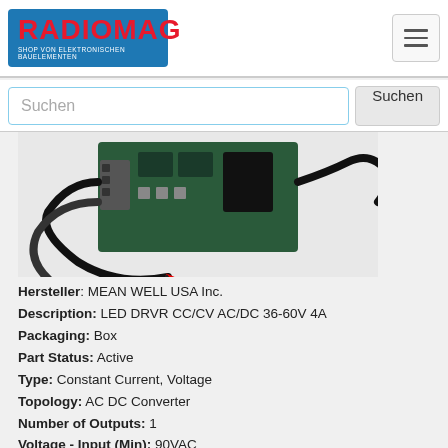RADIOMAG – SHOP VON ELEKTRONISCHEN BAUELEMENTEN
[Figure (screenshot): Search bar with placeholder text 'Suchen' and a 'Suchen' button]
[Figure (photo): LED driver power supply module with wires, MEAN WELL product]
Hersteller: MEAN WELL USA Inc.
Description: LED DRVR CC/CV AC/DC 36-60V 4A
Packaging: Box
Part Status: Active
Type: Constant Current, Voltage
Topology: AC DC Converter
Number of Outputs: 1
Voltage - Input (Min): 90VAC
Voltage - Input (Max): 305VAC
Voltage - Output: 36 ~ 60V
Current - Output (Max): 4A
Power (Watts): 240W
Voltage - Isolation: 3.75kV
Dimming: Analog, PWM
Features: OCP, OTP, OVP, SCP
Efficiency: 91.5%